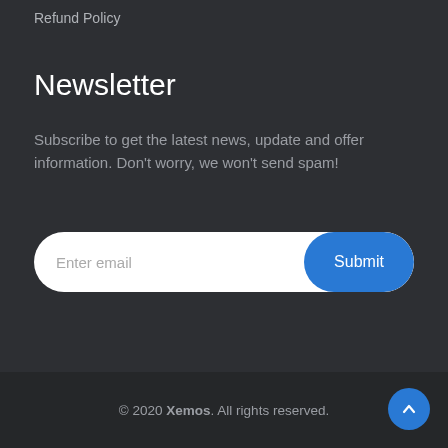Refund Policy
Newsletter
Subscribe to get the latest news, update and offer information. Don't worry, we won't send spam!
[Figure (other): Email subscription form with placeholder text 'Enter email' and a blue 'Submit' button on the right]
© 2020 Xemos. All rights reserved.